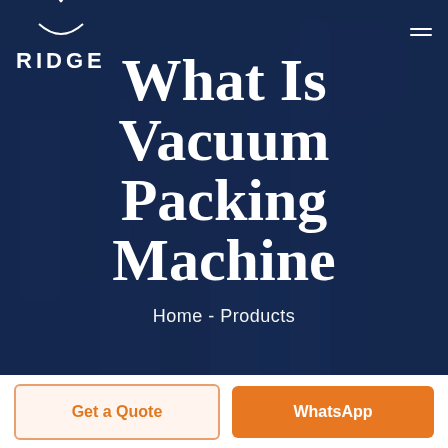[Figure (photo): Dark blue tinted industrial background showing automated vacuum packing machinery with robotic arms and mechanical components]
RIDGE
What Is Vacuum Packing Machine
Home - Products
Get a Quote
WhatsApp